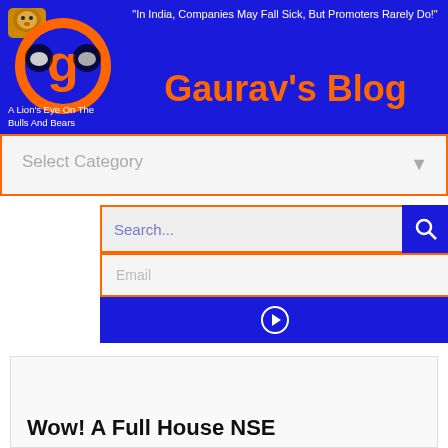[Figure (logo): Gaurav's Blog logo with lion, bull and bear symbols inside orange infinity-like shape with letter g]
"In India, Companies May Fall Sick, But Promoters Rarely Do!"
Gaurav's Blog
A Lion's Eye On The Bulls And Bears
Select Category
Search...
Email
Wow! A Full House NSE